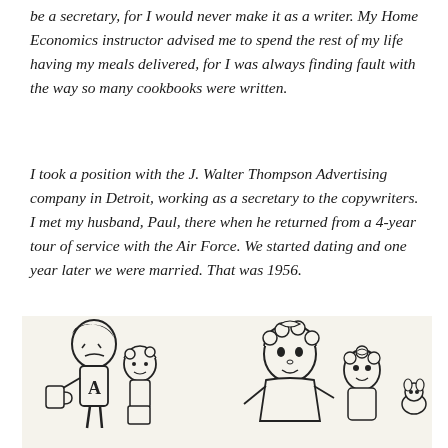be a secretary, for I would never make it as a writer. My Home Economics instructor advised me to spend the rest of my life having my meals delivered, for I was always finding fault with the way so many cookbooks were written.
I took a position with the J. Walter Thompson Advertising company in Detroit, working as a secretary to the copywriters. I met my husband, Paul, there when he returned from a 4-year tour of service with the Air Force. We started dating and one year later we were married. That was 1956.
[Figure (illustration): Black and white cartoon illustration showing children characters. On the left, a boy with short hair holding what appears to be a mug or cup, next to a smaller child. On the right, two girl characters with curly hair and bows, and a small animal or figure.]